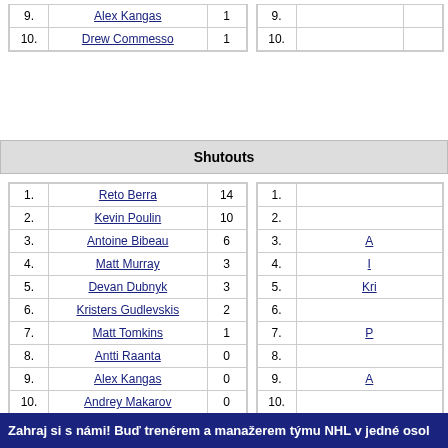| Rank | Name | Value |
| --- | --- | --- |
| 9. | Alex Kangas | 1 |
| 10. | Drew Commesso | 1 |
| Rank | Name | Value |
| --- | --- | --- |
| 9. |  |  |
| 10. |  |  |
Shutouts
| Rank | Name | Shutouts |
| --- | --- | --- |
| 1. | Reto Berra | 14 |
| 2. | Kevin Poulin | 10 |
| 3. | Antoine Bibeau | 6 |
| 4. | Matt Murray | 3 |
| 5. | Devan Dubnyk | 3 |
| 6. | Kristers Gudlevskis | 2 |
| 7. | Matt Tomkins | 1 |
| 8. | Antti Raanta | 0 |
| 9. | Alex Kangas | 0 |
| 10. | Andrey Makarov | 0 |
| Rank | Name | Value |
| --- | --- | --- |
| 1. |  |  |
| 2. |  |  |
| 3. | A... |  |
| 4. | I... |  |
| 5. | Kri... |  |
| 6. |  |  |
| 7. | P... |  |
| 8. |  |  |
| 9. | A... |  |
| 10. |  |  |
Zahraj si s námi! Buď trenérem a manažerem týmu NHL v jedné osol